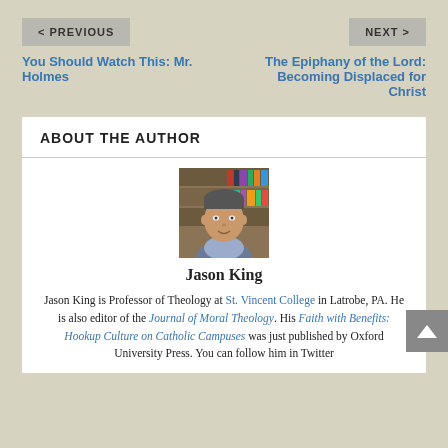< PREVIOUS
You Should Watch This: Mr. Holmes
NEXT >
The Epiphany of the Lord: Becoming Displaced for Christ
ABOUT THE AUTHOR
[Figure (photo): Photo of Jason King, a man in a blazer standing in front of bookshelves]
Jason King
Jason King is Professor of Theology at St. Vincent College in Latrobe, PA. He is also editor of the Journal of Moral Theology. His Faith with Benefits: Hookup Culture on Catholic Campuses was just published by Oxford University Press. You can follow him in Twitter